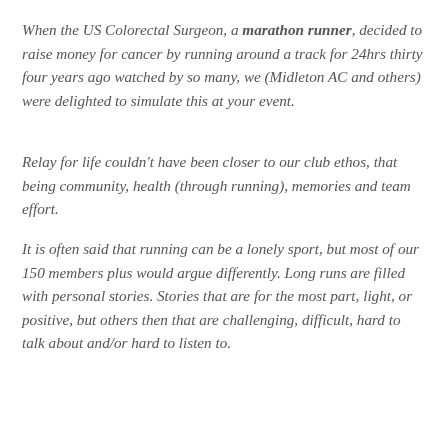When the US Colorectal Surgeon, a marathon runner, decided to raise money for cancer by running around a track for 24hrs thirty four years ago watched by so many, we (Midleton AC and others) were delighted to simulate this at your event.
Relay for life couldn't have been closer to our club ethos, that being community, health (through running), memories and team effort.
It is often said that running can be a lonely sport, but most of our 150 members plus would argue differently. Long runs are filled with personal stories. Stories that are for the most part, light, or positive, but others then that are challenging, difficult, hard to talk about and/or hard to listen to.